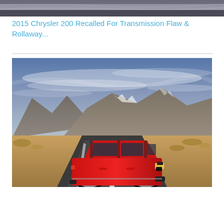[Figure (photo): Partial view of a vehicle or road scene, cropped at the top of the page]
2015 Chrysler 200 Recalled For Transmission Flaw & Rollaway...
[Figure (photo): Red Dodge Journey SUV parked on a desert road with dramatic mountain scenery and cloudy sky in the background]